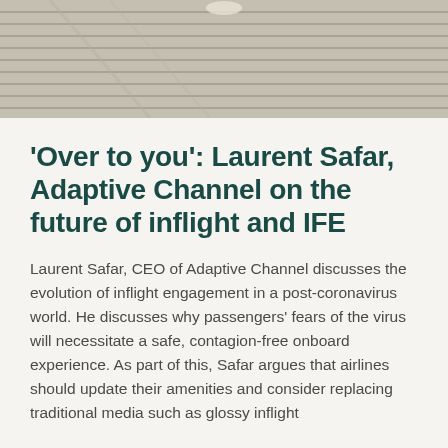[Figure (photo): Partial photo at top of page showing what appears to be a surface with diagonal lines or slats, in beige/tan tones, partially cropped]
‘Over to you’: Laurent Safar, Adaptive Channel on the future of inflight and IFE
Laurent Safar, CEO of Adaptive Channel discusses the evolution of inflight engagement in a post-coronavirus world. He discusses why passengers’ fears of the virus will necessitate a safe, contagion-free onboard experience. As part of this, Safar argues that airlines should update their amenities and consider replacing traditional media such as glossy inflight